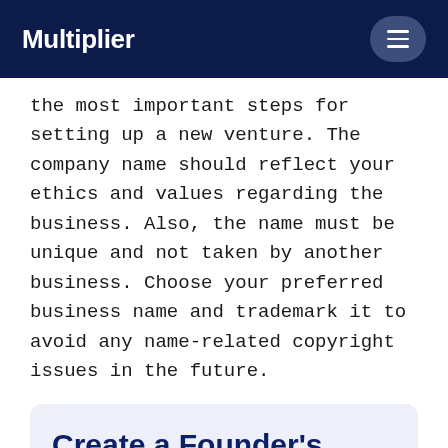Multiplier
the most important steps for setting up a new venture. The company name should reflect your ethics and values regarding the business. Also, the name must be unique and not taken by another business. Choose your preferred business name and trademark it to avoid any name-related copyright issues in the future.
Create a Founder’s Agreement
A Founder's Agreement details the role,